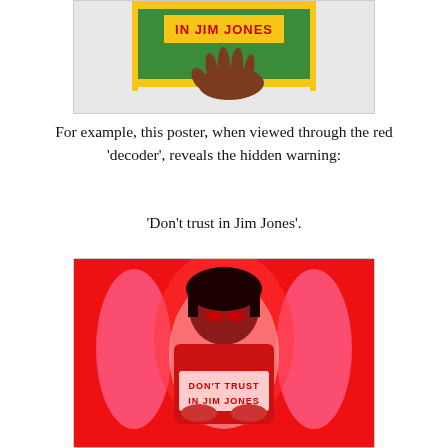[Figure (illustration): Top portion of a poster showing a green banner with text 'IN JIM JONES' and a dark brown hand resting on the green banner, with yellow border elements. Background is light grey.]
For example, this poster, when viewed through the red 'decoder', reveals the hidden warning:
'Don't trust in Jim Jones'.
[Figure (illustration): A red-filtered view of a poster showing a figure with dark bob haircut and red glasses, wearing a red outfit, holding a sign that reads 'DON'T TRUST IN JIM JONES'. The background is bright red with pink swirling shapes around the figure. The image represents the hidden message revealed through the red decoder.]